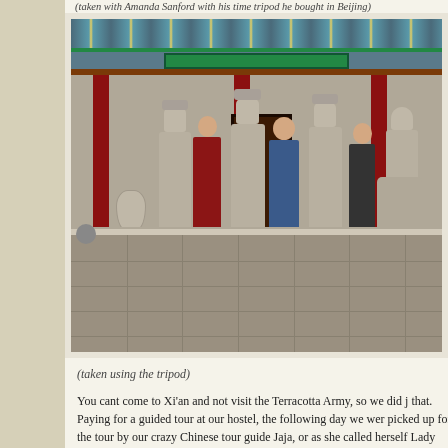(taken with Amanda Sanford with his time tripod he bought in Beijing)
[Figure (photo): Two people posing with terracotta warrior statues in front of a traditional Chinese building with ornate roof decoration and red pillars. The photo shows a courtyard with stone paving.]
(taken using the tripod)
You cant come to Xi'an and not visit the Terracotta Army, so we did j that. Paying for a guided tour at our hostel, the following day we wer picked up for the tour by our crazy Chinese tour guide Jaja, or as she called herself Lady Jaja! Unfortunately for me I was sitting right by h an after initially struggling to pick up some of the things she said in h